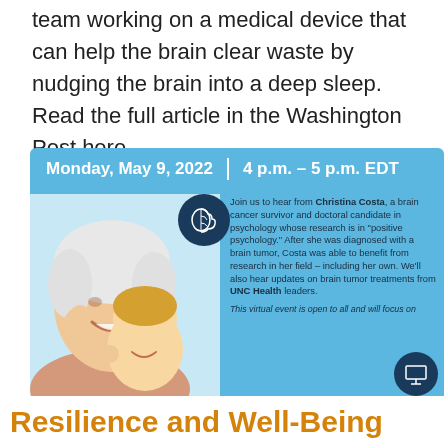team working on a medical device that can help the brain clear waste by nudging the brain into a deep sleep. Read the full article in the Washington Post here.
[Figure (infographic): Event flyer with blue background. Header: Monday, May 9, 2022 | 4 p.m. – 5 p.m. EDT. Left side shows photo of smiling elderly woman with young child. Brain icon in dark circle. Right side text describes event with Christina Costa, brain cancer survivor and doctoral candidate in psychology. Text: Join us to hear from Christina Costa, a brain cancer survivor and doctoral candidate in psychology whose research is in 'positive psychology.' After she was diagnosed with a brain tumor, Costa was able to benefit from research in her field – including her own. We'll also hear updates on brain tumor treatments from UNC Health leaders. This virtual event is open to all and will focus on... Monitor/screen icon in dark circle bottom right.]
Resilience and Well-Being with Cancer: Brain...